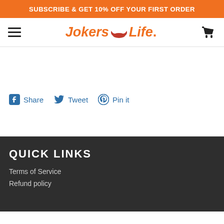SUBSCRIBE & GET 10% OFF YOUR FIRST ORDER
[Figure (logo): Jokers Life logo with hamburger menu and cart icon in navigation bar]
Share  Tweet  Pin it
QUICK LINKS
Terms of Service
Refund policy